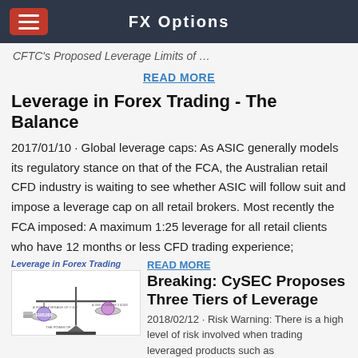FX Options
CFTC's Proposed Leverage Limits of …
READ MORE
Leverage in Forex Trading - The Balance
2017/01/10 · Global leverage caps: As ASIC generally models its regulatory stance on that of the FCA, the Australian retail CFD industry is waiting to see whether ASIC will follow suit and impose a leverage cap on all retail brokers. Most recently the FCA imposed: A maximum 1:25 leverage for all retail clients who have 12 months or less CFD trading experience;
[Figure (illustration): Thumbnail image showing a balance scale with coins and text 'Leverage in Forex Trading']
READ MORE
Breaking: CySEC Proposes Three Tiers of Leverage
2018/02/12 · Risk Warning: There is a high level of risk involved when trading leveraged products such as